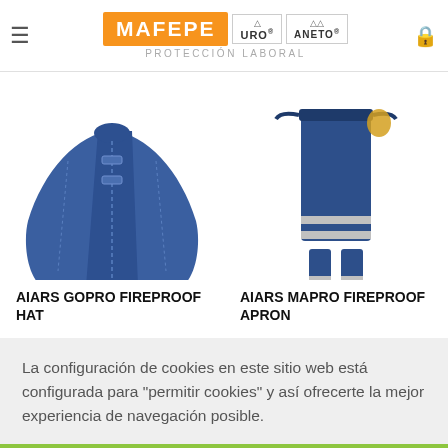MAFEPE PROTECCIÓN LABORAL — URO — ANETO
[Figure (photo): Blue fireproof welding hat/cape, photographed flat from above]
[Figure (photo): Person wearing blue fireproof apron with reflective strips, from waist down]
AIARS GOPRO FIREPROOF HAT
AIARS MAPRO FIREPROOF APRON
La configuración de cookies en este sitio web está configurada para "permitir cookies" y así ofrecerte la mejor experiencia de navegación posible.
Aceptar